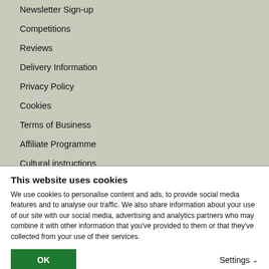Newsletter Sign-up
Competitions
Reviews
Delivery Information
Privacy Policy
Cookies
Terms of Business
Affiliate Programme
Cultural instructions
Contact Us
This website uses cookies
We use cookies to personalise content and ads, to provide social media features and to analyse our traffic. We also share information about your use of our site with our social media, advertising and analytics partners who may combine it with other information that you've provided to them or that they've collected from your use of their services.
OK
Settings